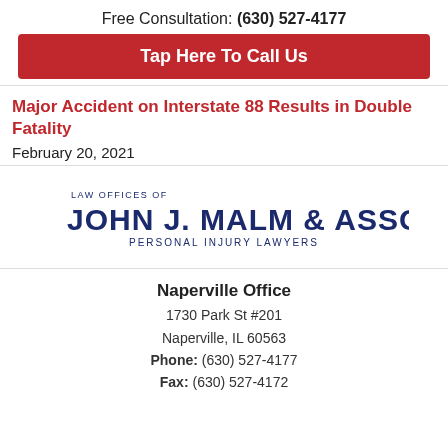Free Consultation: (630) 527-4177
Tap Here To Call Us
Major Accident on Interstate 88 Results in Double Fatality
February 20, 2021
[Figure (logo): Law Offices of John J. Malm & Associates Personal Injury Lawyers logo]
Naperville Office
1730 Park St #201
Naperville, IL 60563
Phone: (630) 527-4177
Fax: (630) 527-4172